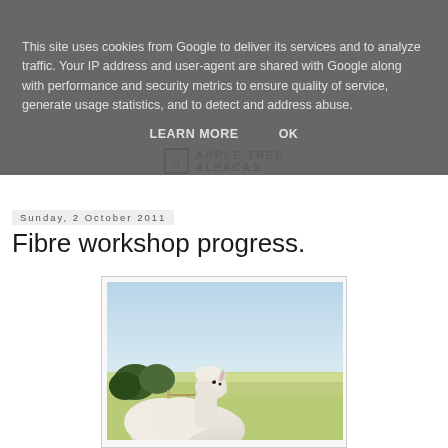This site uses cookies from Google to deliver its services and to analyze traffic. Your IP address and user-agent are shared with Google along with performance and security metrics to ensure quality of service, generate usage statistics, and to detect and address abuse.
LEARN MORE    OK
[Figure (logo): Apple Tree Alpacas logo with small alpaca icon and text]
Sunday, 2 October 2011
Fibre workshop progress.
[Figure (photo): An alpaca in a farm field with blue sky and countryside in the background, standing near a wooden gate]